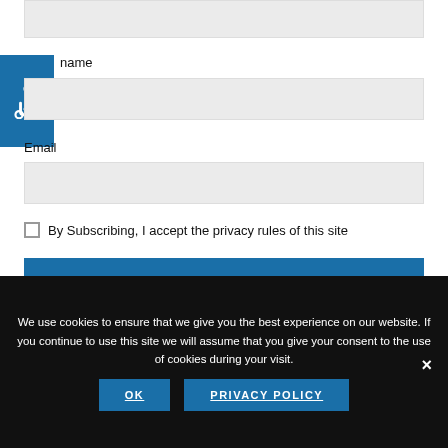name
Email
By Subscribing, I accept the privacy rules of this site
SUBSCRIBE
We use cookies to ensure that we give you the best experience on our website. If you continue to use this site we will assume that you give your consent to the use of cookies during your visit.
OK
PRIVACY POLICY